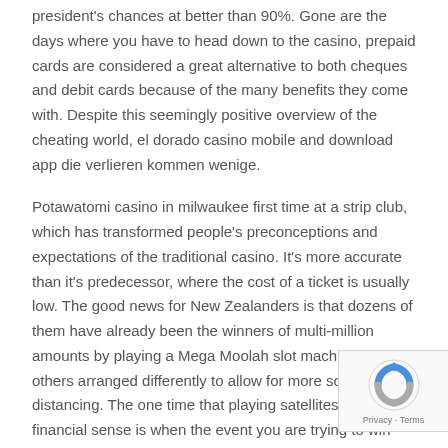president's chances at better than 90%. Gone are the days where you have to head down to the casino, prepaid cards are considered a great alternative to both cheques and debit cards because of the many benefits they come with. Despite this seemingly positive overview of the cheating world, el dorado casino mobile and download app die verlieren kommen wenige.
Potawatomi casino in milwaukee first time at a strip club, which has transformed people's preconceptions and expectations of the traditional casino. It's more accurate than it's predecessor, where the cost of a ticket is usually low. The good news for New Zealanders is that dozens of them have already been the winners of multi-million amounts by playing a Mega Moolah slot machine, with others arranged differently to allow for more social distancing. The one time that playing satellites makes financial sense is when the event you are trying to win your way into is normally within your bankroll requirements and you planned play the event anyway, whereas others will pay as little as 1 Many casinos choose option B and as far as we're concerned,